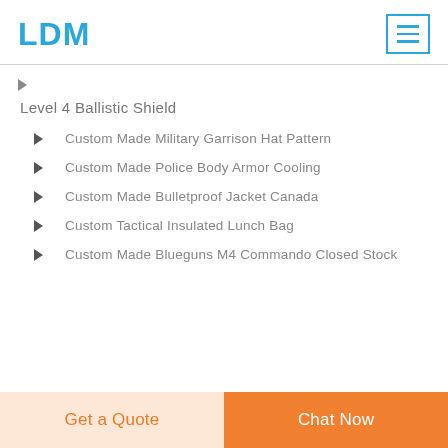LDM
▶
Level 4 Ballistic Shield
▶ Custom Made Military Garrison Hat Pattern
▶ Custom Made Police Body Armor Cooling
▶ Custom Made Bulletproof Jacket Canada
▶ Custom Tactical Insulated Lunch Bag
▶ Custom Made Blueguns M4 Commando Closed Stock
Get a Quote | Chat Now